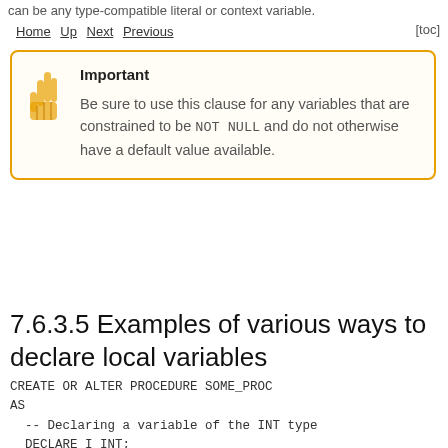can be any type-compatible literal or context variable.
Home Up Next Previous [toc]
Important
Be sure to use this clause for any variables that are constrained to be NOT NULL and do not otherwise have a default value available.
7.6.3.5 Examples of various ways to declare local variables
CREATE OR ALTER PROCEDURE SOME_PROC
AS
  -- Declaring a variable of the INT type
  DECLARE I INT;
  -- Declaring a variable of the INT type that
  DECLARE VARIABLE J INT NOT NULL;